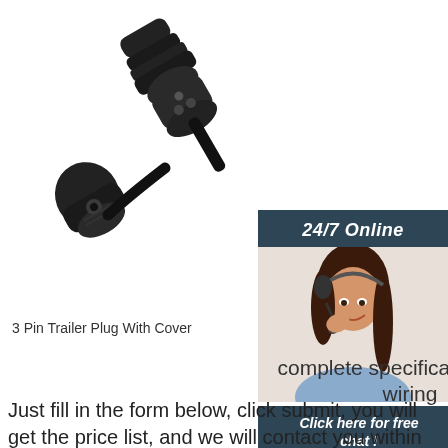[Figure (photo): Black 3-pin trailer plug with cover connector, showing male plug and protective cap on white background]
[Figure (photo): 24/7 Online chat sidebar with customer service representative wearing headset, with 'Click here for free chat!' text and orange QUOTATION button]
3 Pin Trailer Plug With Cover
complete specifications e trailer wiring
Just fill in the form below, click submit, you will get the price list, and we will contact you within one